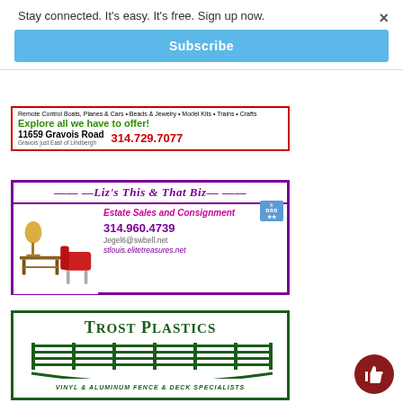Stay connected. It's easy. It's free. Sign up now.
Subscribe
[Figure (infographic): Advertisement for hobby shop: Remote Control Boats, Planes & Cars • Beads & Jewelry • Model Kits • Trains • Crafts. Explore all we have to offer! 11659 Gravois Road, Gravois just East of Lindbergh. 314.729.7077]
[Figure (infographic): Advertisement for Liz's This & That Biz - Estate Sales and Consignment. Phone: 314.960.4739, Email: Jegel6@swbell.net, Website: stlouis.elitetreasures.net. BBB logo shown.]
[Figure (infographic): Advertisement for Trost Plastics - Vinyl & Aluminum Fence & Deck Specialists. Green logo with fence graphic.]